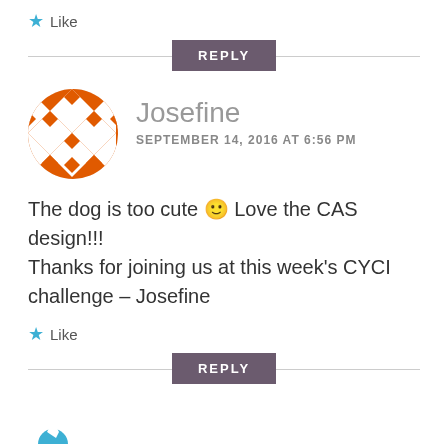★ Like
REPLY
Josefine
SEPTEMBER 14, 2016 AT 6:56 PM
[Figure (illustration): Orange geometric mosaic/quilt pattern avatar circle for user Josefine]
The dog is too cute 🙂 Love the CAS design!!! Thanks for joining us at this week's CYCI challenge – Josefine
★ Like
REPLY
[Figure (illustration): Partial blue geometric avatar circle at bottom of page]